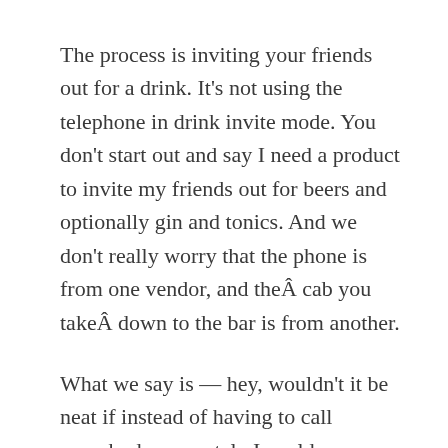The process is inviting your friends out for a drink. It's not using the telephone in drink invite mode. You don't start out and say I need a product to invite my friends out for beers and optionally gin and tonics. And we don't really worry that the phone is from one vendor, and theÂ cab you takeÂ down to the bar is from another.
What we say is — hey, wouldn't it be neat if instead of having to call everybody seperately I could communicate with them all at once?